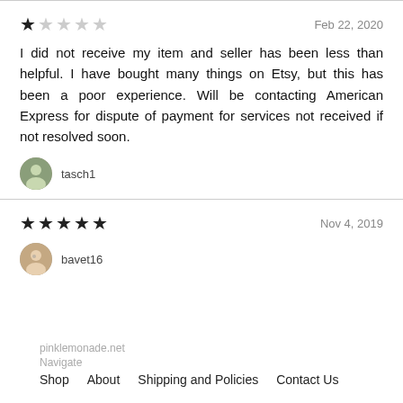★☆☆☆☆   Feb 22, 2020
I did not receive my item and seller has been less than helpful. I have bought many things on Etsy, but this has been a poor experience. Will be contacting American Express for dispute of payment for services not received if not resolved soon.
tasch1
★★★★★   Nov 4, 2019
bavet16
pinklemonade.net
Navigate
Shop   About   Shipping and Policies   Contact Us